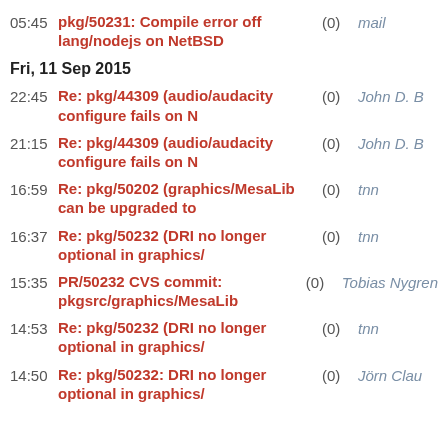05:45 pkg/50231: Compile error off lang/nodejs on NetBSD (0) mail
Fri, 11 Sep 2015
22:45 Re: pkg/44309 (audio/audacity configure fails on N (0) John D. B
21:15 Re: pkg/44309 (audio/audacity configure fails on N (0) John D. B
16:59 Re: pkg/50202 (graphics/MesaLib can be upgraded to (0) tnn
16:37 Re: pkg/50232 (DRI no longer optional in graphics/ (0) tnn
15:35 PR/50232 CVS commit: pkgsrc/graphics/MesaLib (0) Tobias Nygren
14:53 Re: pkg/50232 (DRI no longer optional in graphics/ (0) tnn
14:50 Re: pkg/50232: DRI no longer optional in graphics/ (0) Jörn Clau